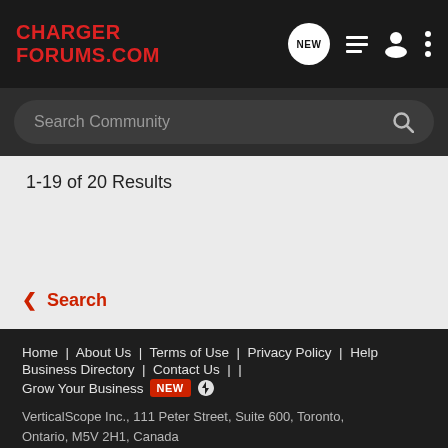CHARGER FORUMS.COM
Search Community
1-19 of 20 Results
< Search
Home | About Us | Terms of Use | Privacy Policy | Help | Business Directory | Contact Us | Grow Your Business NEW
VerticalScope Inc., 111 Peter Street, Suite 600, Toronto, Ontario, M5V 2H1, Canada
The Fora platform includes forum software by XenForo